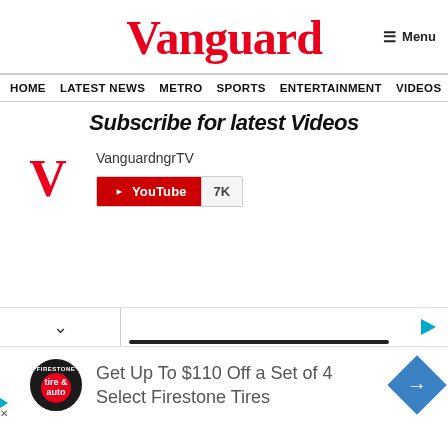Vanguard
≡ Menu
HOME  LATEST NEWS  METRO  SPORTS  ENTERTAINMENT  VIDEOS
Subscribe for latest Videos
[Figure (logo): Vanguard V logo in red followed by VanguardngrTV YouTube channel with 7K subscribers button]
[Figure (screenshot): Video player bar with chevron down on left and play button on right, with a progress bar]
[Figure (infographic): Advertisement: Firestone Tire & Auto logo, text 'Get Up To $110 Off a Set of 4 Select Firestone Tires', blue navigation diamond icon]